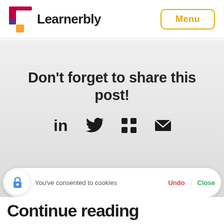[Figure (logo): Learnerbly logo with colorful L icon and bold text]
Menu
Don't forget to share this post!
[Figure (infographic): Social share icons: LinkedIn, Twitter, Slack, Email]
You've consented to cookies
Undo
Close
Continue reading